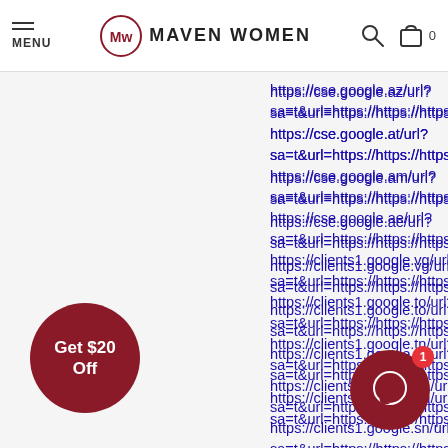MENU | MAVEN WOMEN | [search] [cart] 0
https://cse.google.az/url?
sa=t&url=https://https://https://www.blogger.com/u/0/bl
https://cse.google.at/url?
sa=t&url=https://https://https://www.blogger.com/u/0/bl
https://cse.google.am/url?
sa=t&url=https://https://https://www.blogger.com/u/0/bl
https://cse.google.ae/url?
sa=t&url=https://https://https://www.blogger.com/u/0/bl
https://clients1.google.vg/url?
sa=t&url=https://https://https://www.blogger.com/u/0/bl
https://clients1.google.to/url?
sa=t&url=https://https://https://www.blogger.com/u/0/bl
https://clients1.google.tn/url?
sa=t&url=https://https://https://www.blogger.com/u/0/bl
https://clients1.google.tm/url?
sa=t&url=https://https://https://www.blogger.com/u/0/bl
https://clients1.google.sn/url?
sa=t&url=https://https://https://www.blogger.com/u/0/bl
https://clients1.google.sm/url?
sa=t&url=https://https://https://www.blogger.com/u/0/bl
https://clients1.google.sk/url?